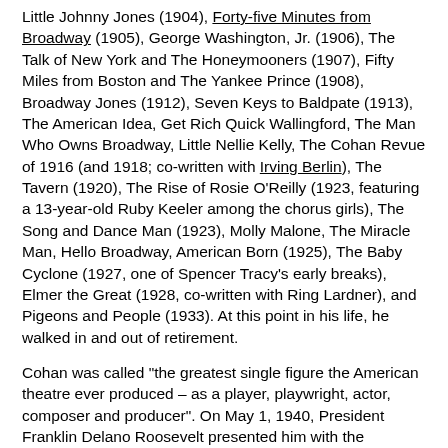Little Johnny Jones (1904), Forty-five Minutes from Broadway (1905), George Washington, Jr. (1906), The Talk of New York and The Honeymooners (1907), Fifty Miles from Boston and The Yankee Prince (1908), Broadway Jones (1912), Seven Keys to Baldpate (1913), The American Idea, Get Rich Quick Wallingford, The Man Who Owns Broadway, Little Nellie Kelly, The Cohan Revue of 1916 (and 1918; co-written with Irving Berlin), The Tavern (1920), The Rise of Rosie O'Reilly (1923, featuring a 13-year-old Ruby Keeler among the chorus girls), The Song and Dance Man (1923), Molly Malone, The Miracle Man, Hello Broadway, American Born (1925), The Baby Cyclone (1927, one of Spencer Tracy's early breaks), Elmer the Great (1928, co-written with Ring Lardner), and Pigeons and People (1933). At this point in his life, he walked in and out of retirement.
Cohan was called "the greatest single figure the American theatre ever produced – as a player, playwright, actor, composer and producer". On May 1, 1940, President Franklin Delano Roosevelt presented him with the Congressional Gold Medal for his contributions to World War I morale, in particular with the songs "You're a Grand Old Flag" and "Over There". Cohan was the first person in any artistic field selected for this honor, which previously had gone only to military and political leaders.